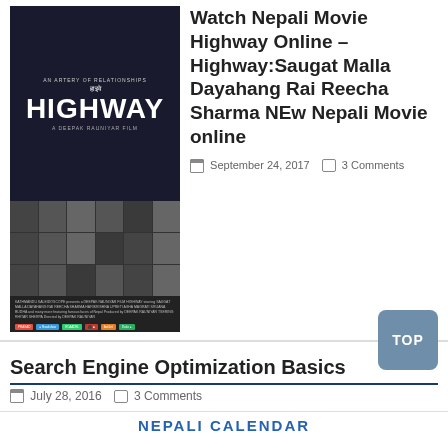[Figure (photo): Movie poster for 'Highway' - Nepali film, showing title text and collage of scenes]
Watch Nepali Movie Highway Online –Highway:Saugat Malla Dayahang Rai Reecha Sharma NEw Nepali Movie online
September 24, 2017   3 Comments
Search Engine Optimization Basics
July 28, 2016   3 Comments
NEPALI CALENDAR